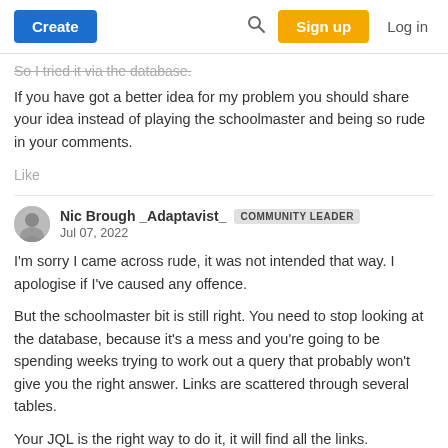Create  [search icon]  Sign up  Log in
So I tried it via the database.
If you have got a better idea for my problem you should share your idea instead of playing the schoolmaster and being so rude in your comments.
Like
Nic Brough _Adaptavist_  COMMUNITY LEADER
Jul 07, 2022
I'm sorry I came across rude, it was not intended that way.  I apologise if I've caused any offence.
But the schoolmaster bit is still right.  You need to stop looking at the database, because it's a mess and you're going to be spending weeks trying to work out a query that probably won't give you the right answer.  Links are scattered through several tables.
Your JQL is the right way to do it, it will find all the links.